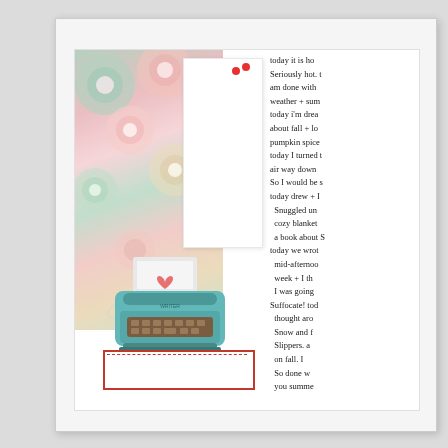[Figure (photo): A scrapbook page inside a white binder/page protector. The page features a floral patterned strip on the left with pastel flowers, a large red 'today...' word art die-cut in script, a vintage teal typewriter illustration with a pink heart, a red-bordered label placeholder at the bottom, and handwritten journaling text on the right side partially cropped.]